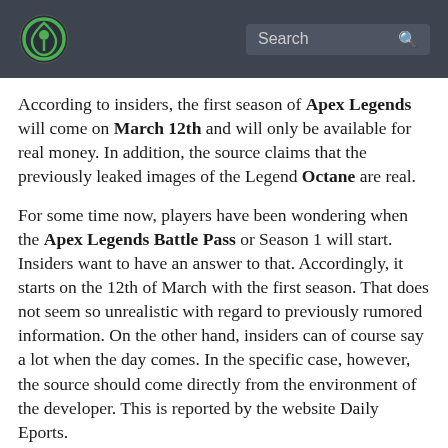[logo] Search
According to insiders, the first season of Apex Legends will come on March 12th and will only be available for real money. In addition, the source claims that the previously leaked images of the Legend Octane are real.
For some time now, players have been wondering when the Apex Legends Battle Pass or Season 1 will start. Insiders want to have an answer to that. Accordingly, it starts on the 12th of March with the first season. That does not seem so unrealistic with regard to previously rumored information. On the other hand, insiders can of course say a lot when the day comes. In the specific case, however, the source should come directly from the environment of the developer. This is reported by the website Daily Eports.